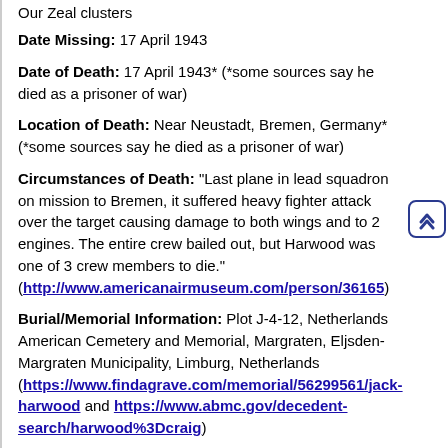Our Zeal clusters
Date Missing: 17 April 1943
Date of Death: 17 April 1943* (*some sources say he died as a prisoner of war)
Location of Death: Near Neustadt, Bremen, Germany* (*some sources say he died as a prisoner of war)
Circumstances of Death: "Last plane in lead squadron on mission to Bremen, it suffered heavy fighter attack over the target causing damage to both wings and to 2 engines. The entire crew bailed out, but Harwood was one of 3 crew members to die." (http://www.americanairmuseum.com/person/36165)
Burial/Memorial Information: Plot J-4-12, Netherlands American Cemetery and Memorial, Margraten, Eljsden-Margraten Municipality, Limburg, Netherlands (https://www.findagrave.com/memorial/56299561/jack-harwood and https://www.abmc.gov/decedent-search/harwood%3Dcraig)
Additional Information: When at MC, he went by "Jack Craig Harwood." After MC, he married and had a son whom he never met